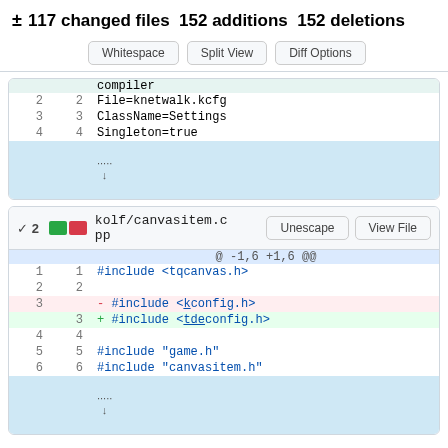± 117 changed files  152 additions  152 deletions
|  |  | compiler |
| 2 | 2 | File=knetwalk.kcfg |
| 3 | 3 | ClassName=Settings |
| 4 | 4 | Singleton=true |
| ↓ |  |  |
v 2  kolf/canvasitem.cpp   Unescape   View File
|  |  | @ -1,6 +1,6 @@ |
| 1 | 1 | #include <tqcanvas.h> |
| 2 | 2 |  |
| 3 |  | - #include <kconfig.h> |
|  | 3 | + #include <tdeconfig.h> |
| 4 | 4 |  |
| 5 | 5 | #include "game.h" |
| 6 | 6 | #include "canvasitem.h" |
| ↓ |  |  |